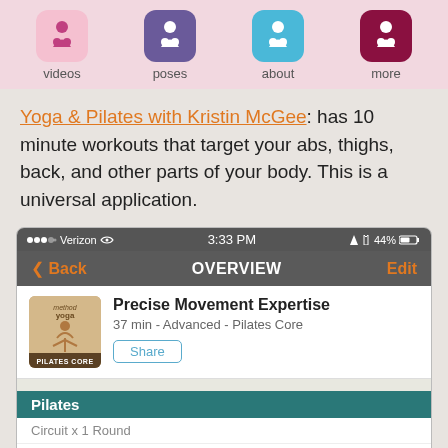[Figure (screenshot): App navigation bar showing four icons: videos (pink background), poses (purple background), about (blue background), more (dark red background) with labels below each icon]
Yoga & Pilates with Kristin McGee: has 10 minute workouts that target your abs, thighs, back, and other parts of your body. This is a universal application.
[Figure (screenshot): iPhone app screenshot showing status bar (Verizon 3:33 PM 44%), navigation bar with Back/OVERVIEW/Edit, workout entry 'Precise Movement Expertise - 37 min - Advanced - Pilates Core' with Share button, Pilates section header, Circuit x 1 Round, and Leg Circles exercise]